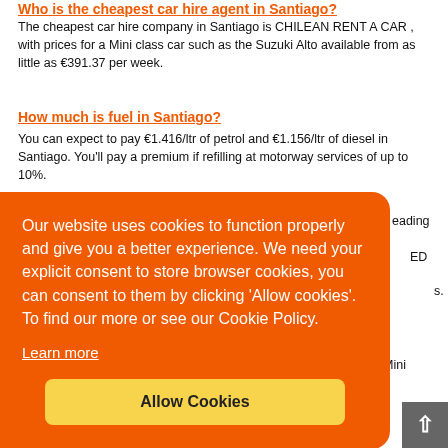Who is the cheapest car hire agent in Santiago?
The cheapest car hire company in Santiago is CHILEAN RENT A CAR , with prices for a Mini class car such as the Suzuki Alto available from as little as €391.37 per week.
How much is fuel in Santiago?
You can expect to pay €1.416/ltr of petrol and €1.156/ltr of diesel in Santiago. You'll pay a premium if refilling at motorway services of up to 10%.
Our website uses cookies to function properly and give you a better experience. We need your explicit consent to store browser cookies, you can consent to them by clicking 'Allow cookies'. To find our more or see our Cookie Policy.
Learn more
Allow Cookies
moment, however CHILEAN RENT A CAR rates start from just